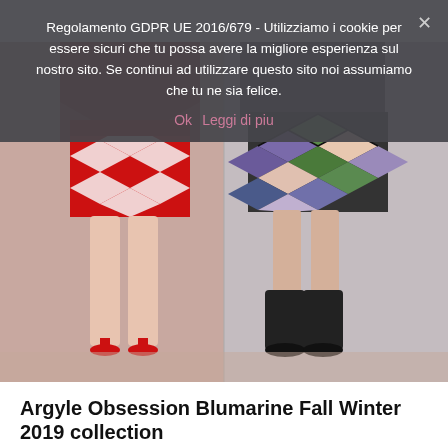Regolamento GDPR UE 2016/679 - Utilizziamo i cookie per essere sicuri che tu possa avere la migliore esperienza sul nostro sito. Se continui ad utilizzare questo sito noi assumiamo che tu ne sia felice.
Ok   Leggi di piu
[Figure (photo): Two fashion runway models wearing argyle/diamond pattern outfits. Left model wears red and white large diamond/checker pattern mini skirt with sheer red top and red heels. Right model wears colorful stained-glass style diamond pattern skirt (green, purple, blue, peach) with black boots. Both on a pink/beige runway floor.]
Argyle Obsession Blumarine Fall Winter 2019 collection